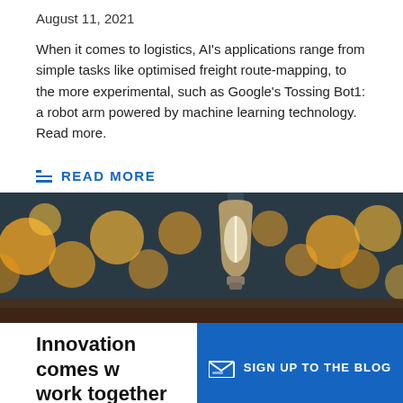August 11, 2021
When it comes to logistics, AI's applications range from simple tasks like optimised freight route-mapping, to the more experimental, such as Google's Tossing Bot1: a robot arm powered by machine learning technology. Read more.
READ MORE
[Figure (photo): Photo of a glowing incandescent light bulb hanging against a bokeh background of warm yellow circular lights]
Innovation comes w... work together
SIGN UP TO THE BLOG